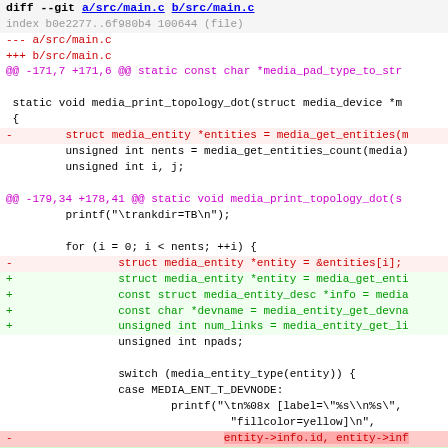[Figure (screenshot): Git diff output showing changes to a/src/main.c and b/src/main.c. The diff shows modifications to the media_print_topology_dot function, replacing direct entity array access with function calls to media_get_entity, media_entity_desc, media_entity_get_devname, and media_entity_get_links.]